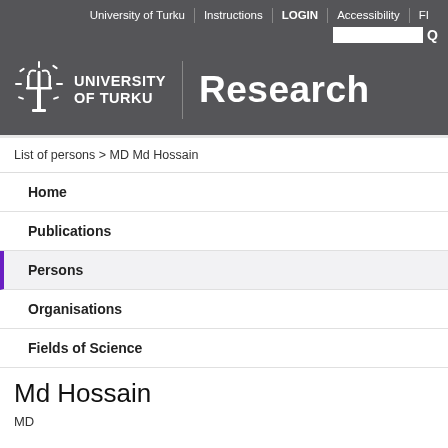University of Turku | Instructions | LOGIN | Accessibility | FI
[Figure (logo): University of Turku logo with trident emblem and the text UNIVERSITY OF TURKU, beside a vertical divider and the word Research]
List of persons > MD Md Hossain
Home
Publications
Persons
Organisations
Fields of Science
Md Hossain
MD